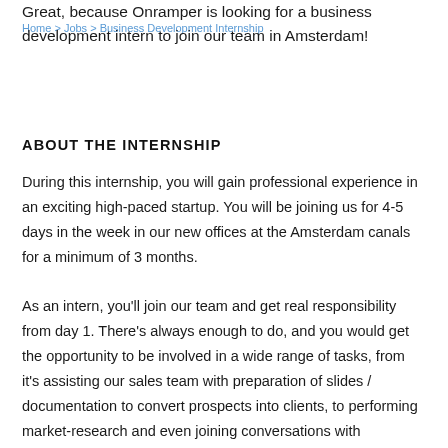Home > Jobs > Business Development Internship
Great, because Onramper is looking for a business development intern to join our team in Amsterdam!
ABOUT THE INTERNSHIP
During this internship, you will gain professional experience in an exciting high-paced startup. You will be joining us for 4-5 days in the week in our new offices at the Amsterdam canals for a minimum of 3 months.
As an intern, you'll join our team and get real responsibility from day 1. There's always enough to do, and you would get the opportunity to be involved in a wide range of tasks, from it's assisting our sales team with preparation of slides / documentation to convert prospects into clients, to performing market-research and even joining conversations with clients/partners!